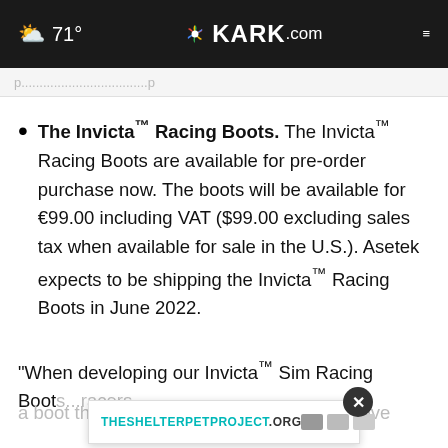71° KARK.com
...
The Invicta™ Racing Boots. The Invicta™ Racing Boots are available for pre-order purchase now. The boots will be available for €99.00 including VAT ($99.00 excluding sales tax when available for sale in the U.S.). Asetek expects to be shipping the Invicta™ Racing Boots in June 2022.
"When developing our Invicta™ Sim Racing Boots... racers a boot that is specifically designed to improve
[Figure (other): Advertisement banner for THESHELTERPETPROJECT.ORG with close button overlay]